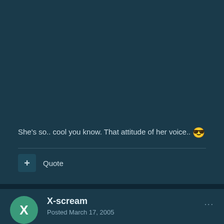She's so.. cool you know. That attitude of her voice.. 😎
Quote
X-scream
Posted March 17, 2005
Luminus - Galaxy to galaxy
Roses are red...violets are Blue. I'm a schizofrenic... and so am I 🤯